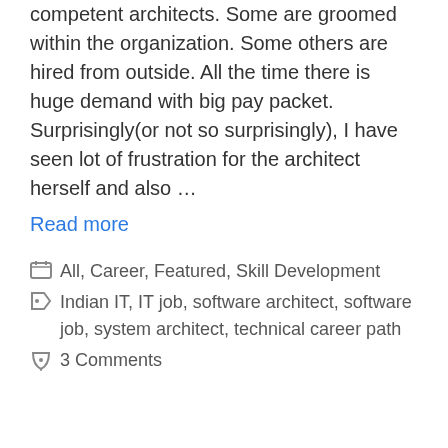competent architects. Some are groomed within the organization. Some others are hired from outside. All the time there is huge demand with big pay packet. Surprisingly(or not so surprisingly), I have seen lot of frustration for the architect herself and also …
Read more
All, Career, Featured, Skill Development
Indian IT, IT job, software architect, software job, system architect, technical career path
3 Comments